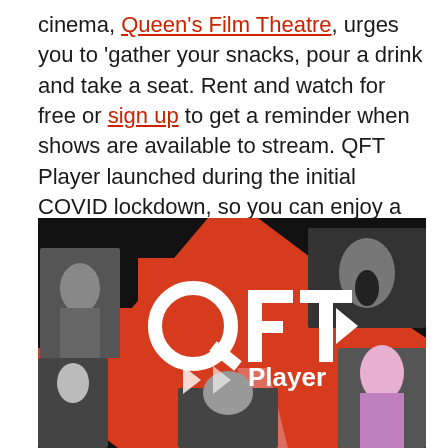cinema, Queen's Film Theatre, urges you to 'gather your snacks, pour a drink and take a seat. Rent and watch for free or sign up to get a reminder when shows are available to stream. QFT Player launched during the initial COVID lockdown, so you can enjoy a bit of QFT at home.
[Figure (illustration): QFT Player promotional banner on a red/orange background with geometric chevron shapes and photos of various performers including a man rapping, a screaming horror figure, a drag queen, and a bald man. Large white QFT Player logo in the center.]